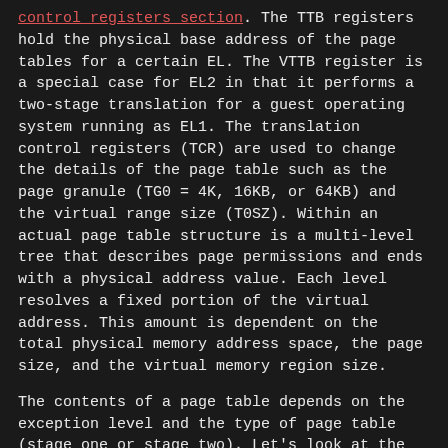control registers section. The TTB registers hold the physical base address of the page tables for a certain EL. The VTTB register is a special case for EL2 in that it performs a two-stage translation for a guest operating system running as EL1. The translation control registers (TCR) are used to change the details of the page table such as the page granule (TG0 = 4K, 16KB, or 64KB) and the virtual range size (T0SZ). Within an actual page table structure is a multi-level tree that describes page permissions and ends with a physical address value. Each level resolves a fixed portion of the virtual address. This amount is dependent on the total physical memory address space, the page size, and the virtual memory region size.
The contents of a page table depends on the exception level and the type of page table (stage one or stage two). Let's look at the format of an EL1, TTBR1_EL1 page table (stage one), running under a EL2 hypervisor (stage two).
[Figure (schematic): Register diagram showing bit fields. Top row: bit 63 on left, bits 1 and 0 on right. Row labeled 'Invalid' with 'IGNORED' field spanning most bits and a 0 field at bit 0. Bottom row shows bit positions: 63, 62:61, 48:47, ..., 0:0:1, 12:11, ..., 3 1 0]